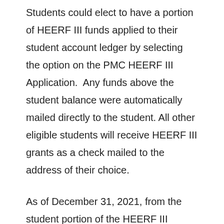Students could elect to have a portion of HEERF III funds applied to their student account ledger by selecting the option on the PMC HEERF III Application.  Any funds above the student balance were automatically mailed directly to the student. All other eligible students will receive HEERF III grants as a check mailed to the address of their choice.
As of December 31, 2021, from the student portion of the HEERF III funding, Pine Manor College has distributed $410,000 in HEERF III grants to 60 students.